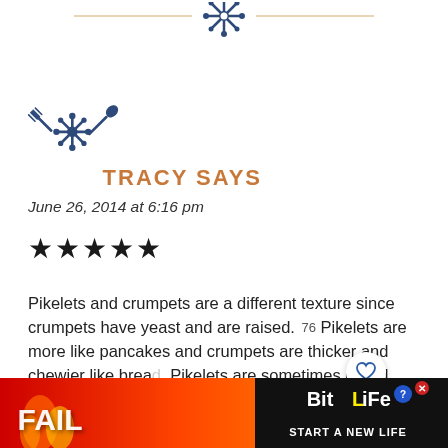[Figure (illustration): Decorative top ornament with crossed utensils and floral snowflake motif in dark blue/navy]
[Figure (logo): Blog logo icon: crossed fork and spoon with decorative snowflake/flower motif in dark navy blue]
TRACY SAYS
June 26, 2014 at 6:16 pm
★★★★★
Pikelets and crumpets are a different texture since crumpets have yeast and are raised. Pikelets are more like pancakes and crumpets are thicker and chewier like bread. Pikelets are sometimes called drop scones in the Midlands and North. In Staffordshire we h... foun...
[Figure (infographic): Advertisement banner: BitLife 'Start a New Life' game ad with fire imagery, fail text, and cartoon character]